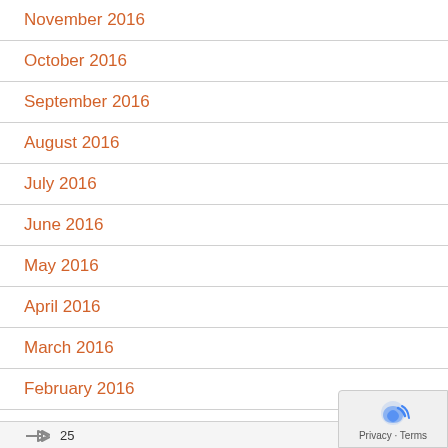November 2016
October 2016
September 2016
August 2016
July 2016
June 2016
May 2016
April 2016
March 2016
February 2016
25